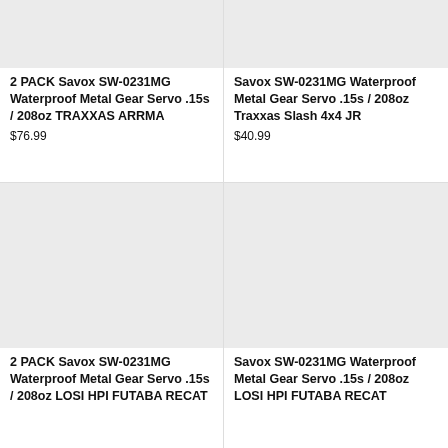[Figure (photo): Product image placeholder – light gray rectangle, top-left product]
2 PACK Savox SW-0231MG Waterproof Metal Gear Servo .15s / 208oz TRAXXAS ARRMA
$76.99
[Figure (photo): Product image placeholder – light gray rectangle, top-right product]
Savox SW-0231MG Waterproof Metal Gear Servo .15s / 208oz Traxxas Slash 4x4 JR
$40.99
[Figure (photo): Product image placeholder – light gray rectangle, bottom-left product]
2 PACK Savox SW-0231MG Waterproof Metal Gear Servo .15s / 208oz LOSI HPI FUTABA RECAT
[Figure (photo): Product image placeholder – light gray rectangle, bottom-right product]
Savox SW-0231MG Waterproof Metal Gear Servo .15s / 208oz LOSI HPI FUTABA RECAT